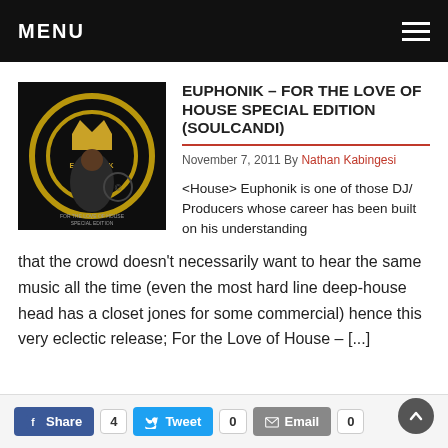MENU
EUPHONIK – FOR THE LOVE OF HOUSE SPECIAL EDITION (SOULCANDI)
November 7, 2011 By Nathan Kabingesi
[Figure (photo): Album cover art for Euphonik – For the Love of House Special Edition showing Euphonik posing in front of a gold ring/crown logo on dark background with text 'FOR THE LOVE OF HOUSE SPECIAL EDITION']
<House> Euphonik is one of those DJ/ Producers whose career has been built on his understanding that the crowd doesn't necessarily want to hear the same music all the time (even the most hard line deep-house head has a closet jones for some commercial) hence this very eclectic release; For the Love of House – [...]
Share 4  Tweet 0  Email 0